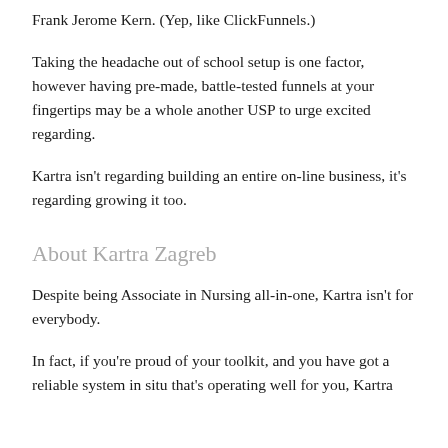Frank Jerome Kern. (Yep, like ClickFunnels.)
Taking the headache out of school setup is one factor, however having pre-made, battle-tested funnels at your fingertips may be a whole another USP to urge excited regarding.
Kartra isn't regarding building an entire on-line business, it's regarding growing it too.
About Kartra Zagreb
Despite being Associate in Nursing all-in-one, Kartra isn't for everybody.
In fact, if you're proud of your toolkit, and you have got a reliable system in situ that's operating well for you, Kartra